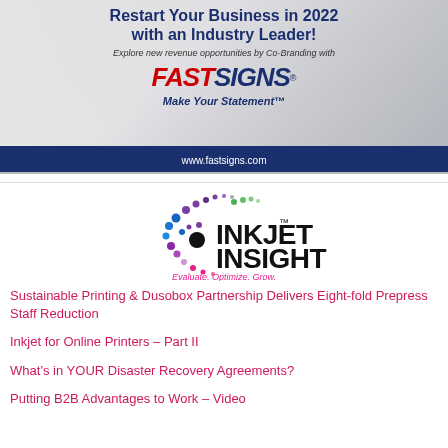[Figure (advertisement): FASTSIGNS advertisement banner: 'Restart Your Business in 2022 with an Industry Leader!' with tagline 'Explore new revenue opportunities by Co-Branding with' and FASTSIGNS logo with 'Make Your Statement' tagline and www.fastsigns.com URL bar]
[Figure (logo): Inkjet Insight logo with colorful dot pattern and tagline 'Evaluate. Optimize. Grow.']
Sustainable Printing & Dusobox Partnership Delivers Eight-fold Prepress Staff Reduction
Inkjet for Online Printers – Part II
What's in YOUR Disaster Recovery Agreements?
Putting B2B Advantages to Work – Video